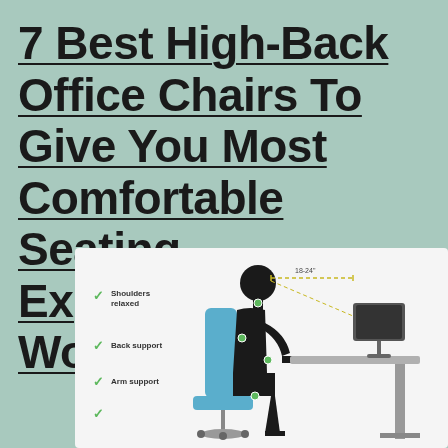7 Best High-Back Office Chairs To Give You Most Comfortable Seating Experience While Working
[Figure (illustration): Ergonomic office chair posture diagram showing a silhouette person seated at a desk with a monitor. Labels indicate: Shoulders relaxed, Back support, Arm support, and a measurement of 18-24 inches from eyes to screen. Green checkmarks beside each label. The chair is shown in blue, the desk and monitor in grey/dark tones.]